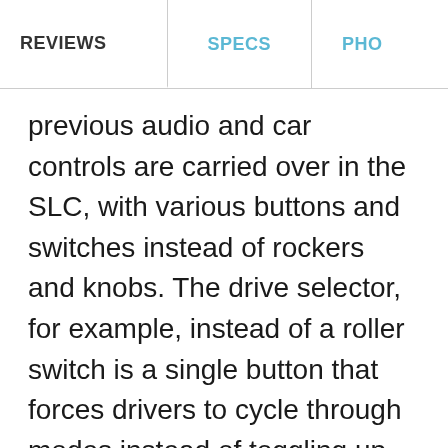REVIEWS   SPECS   PHO
previous audio and car controls are carried over in the SLC, with various buttons and switches instead of rockers and knobs. The drive selector, for example, instead of a roller switch is a single button that forces drivers to cycle through modes instead of toggling up or down the lineup. Meaty metallic ribs flare from the flat-bottomed steering wheel, and metallic tubes house clean analog gauges—which have been restyled this year, against a darker background.